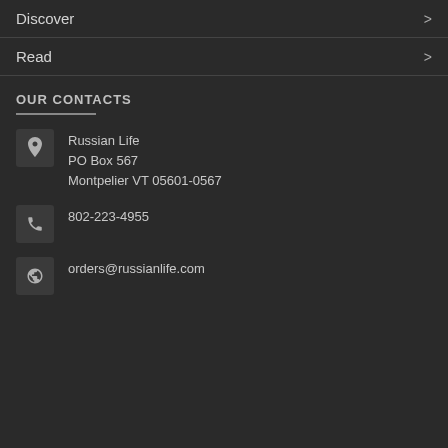Discover
Read
OUR CONTACTS
Russian Life
PO Box 567
Montpelier VT 05601-0567
802-223-4955
orders@russianlife.com